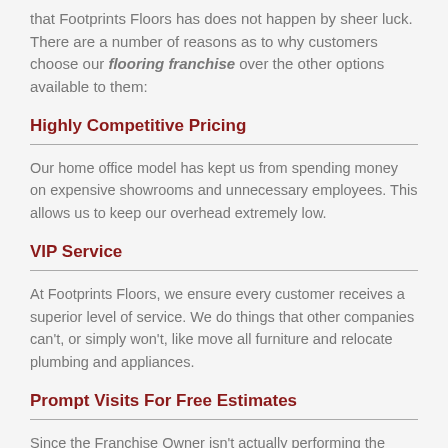that Footprints Floors has does not happen by sheer luck. There are a number of reasons as to why customers choose our flooring franchise over the other options available to them:
Highly Competitive Pricing
Our home office model has kept us from spending money on expensive showrooms and unnecessary employees. This allows us to keep our overhead extremely low.
VIP Service
At Footprints Floors, we ensure every customer receives a superior level of service. We do things that other companies can't, or simply won't, like move all furniture and relocate plumbing and appliances.
Prompt Visits For Free Estimates
Since the Franchise Owner isn't actually performing the